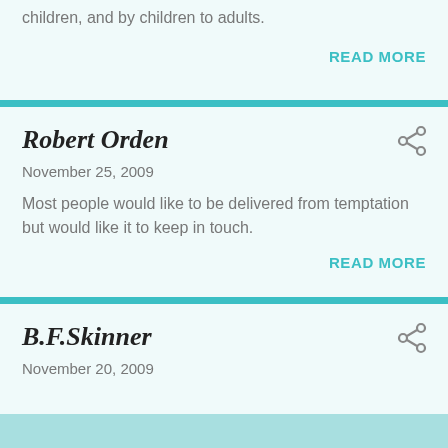children, and by children to adults.
READ MORE
Robert Orden
November 25, 2009
Most people would like to be delivered from temptation but would like it to keep in touch.
READ MORE
B.F.Skinner
November 20, 2009